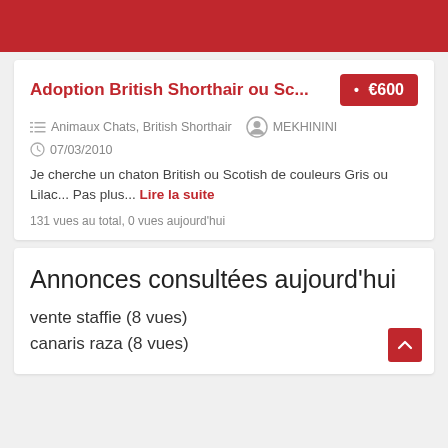Adoption British Shorthair ou Sc... • €600
Animaux Chats, British Shorthair   MEKHININI
07/03/2010
Je cherche un chaton British ou Scotish de couleurs Gris ou Lilac... Pas plus... Lire la suite
131 vues au total, 0 vues aujourd'hui
Annonces consultées aujourd'hui
vente staffie (8 vues)
canaris raza (8 vues)